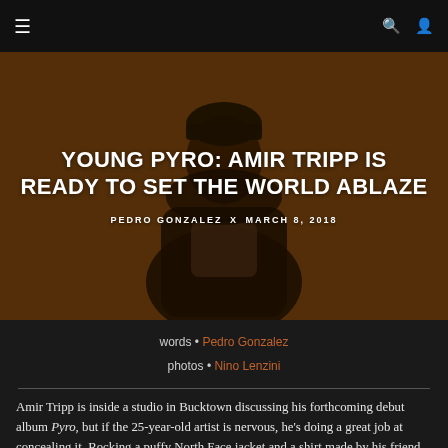☰  🔍  👤
[Figure (photo): Hero image of Amir Tripp, a young man wearing a beanie and North Face jacket, photographed against an orange-brown background. White article title and byline overlaid.]
YOUNG PYRO: AMIR TRIPP IS READY TO SET THE WORLD ABLAZE
PEDRO GONZALEZ x MARCH 8, 2018
words • Pedro Gonzalez
photos • Nino Lenzini
Amir Tripp is inside a studio in Bucktown discussing his forthcoming debut album Pyro, but if the 25-year-old artist is nervous, he's doing a great job at concealing it. Rocking a puffy North Face jacket and a shirt made by his friend Stefan, he's calm and collected on the surface, a characteristically stoic nature belying his eagerness to finally have